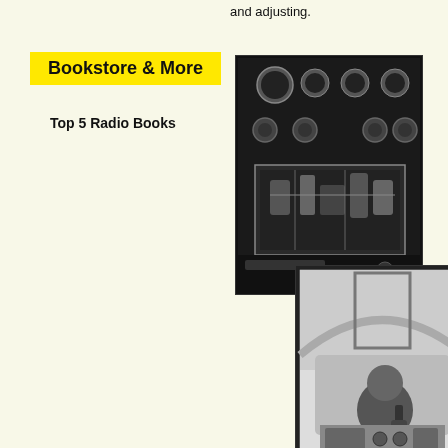and adjusting.
Bookstore & More
Top 5 Radio Books
[Figure (photo): Black and white photograph of vintage radio equipment with dials, meters, and internal components visible]
[Figure (photo): Black and white photograph of a person inside a car holding a radio microphone, with radio equipment visible on the dashboard]